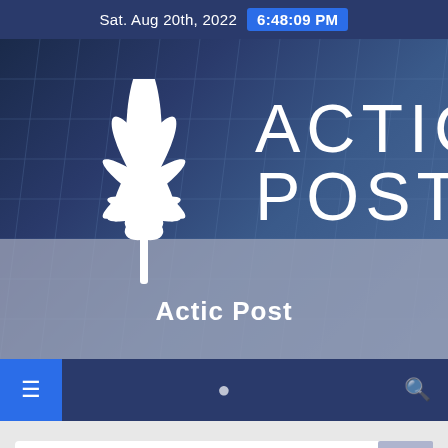Sat. Aug 20th, 2022  6:48:09 PM
[Figure (logo): Actic Post website header with cannabis leaf logo and 'ACTIC POST' text over a dark blue city building background, with 'Actic Post' subtitle on gray overlay]
SMOKING